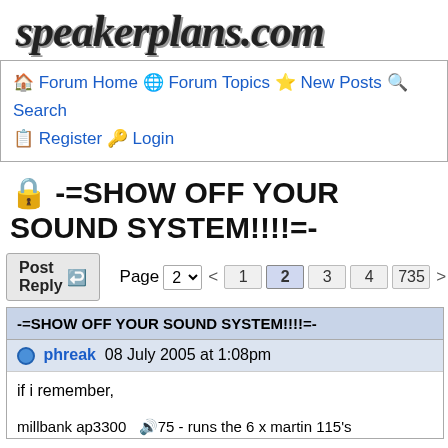[Figure (logo): speakerplans.com logo in bold italic text with shadow effect]
🏠 Forum Home 🌐 Forum Topics ⭐ New Posts 🔍 Search 📋 Register 🔑 Login
🔒 -=SHOW OFF YOUR SOUND SYSTEM!!!!=-
Post Reply  Page 2  < 1 2 3 4 735 >
| -=SHOW OFF YOUR SOUND SYSTEM!!!!=-  |
| --- |
| phreak 08 July 2005 at 1:08pm |
| if i remember, |
| millbank ap3300  75 - runs the 6 x martin 115's |